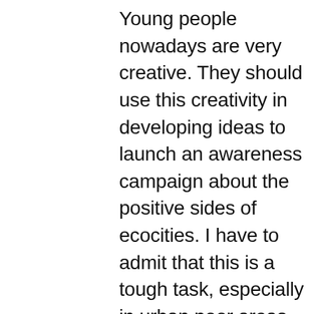Young people nowadays are very creative. They should use this creativity in developing ideas to launch an awareness campaign about the positive sides of ecocities. I have to admit that this is a tough task, especially in urban poor areas where citizens are loaded with daily life concerns. Young people as well as older ones should come together to contribute in small initiatives and actions at the level of their communities, such as: volunteering in greening their neighborhoods, educating their neighbors, saving energy, promoting walkability avoiding the excessive use of cars, encouraging carpooling, cycling, and waste recycling. Young people should be aware that all actions taken nowadays are essential for their future, and their families' future, and it is the only way to make communities healthier to live in. However, young